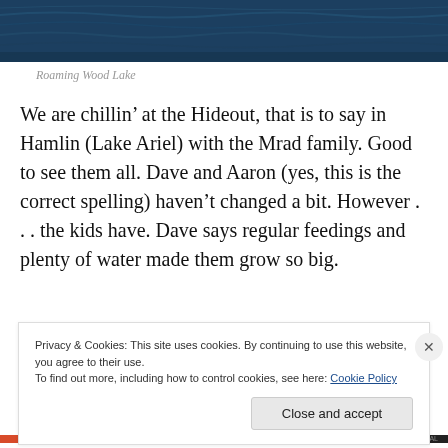[Figure (photo): Cropped photo of Roaming Wood Lake — dark blue water surface with ripples, partially visible at top of page]
Roaming Wood Lake
We are chillin’ at the Hideout, that is to say in Hamlin (Lake Ariel) with the Mrad family. Good to see them all. Dave and Aaron (yes, this is the correct spelling) haven’t changed a bit. However . . . the kids have. Dave says regular feedings and plenty of water made them grow so big.
We took a walk along some of the lake this morning and
Privacy & Cookies: This site uses cookies. By continuing to use this website, you agree to their use.
To find out more, including how to control cookies, see here: Cookie Policy
Close and accept